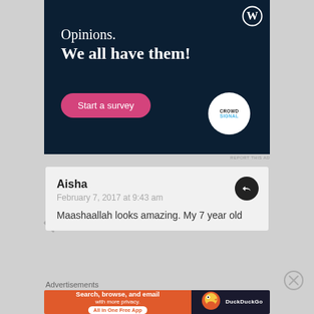[Figure (screenshot): WordPress/Crowdsignal advertisement with dark navy background. Text reads 'Opinions. We all have them!' with a pink 'Start a survey' button and Crowdsignal logo circle. WordPress logo top right.]
REPORT THIS AD
Aisha
February 7, 2017 at 9:43 am

Maashaallah looks amazing. My 7 year old
Advertisements
[Figure (screenshot): DuckDuckGo advertisement. Left side orange with text 'Search, browse, and email with more privacy. All in One Free App'. Right side dark with DuckDuckGo duck logo.]